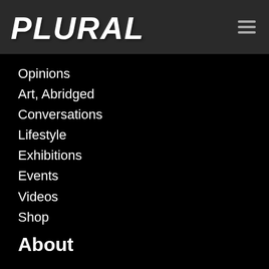[Figure (logo): PLURAL logo in white brush-stroke style lettering on dark gray header bar]
Opinions
Art, Abridged
Conversations
Lifestyle
Exhibitions
Events
Videos
Shop
About